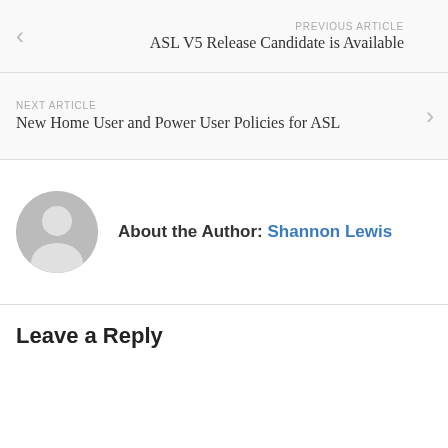PREVIOUS ARTICLE
ASL V5 Release Candidate is Available
NEXT ARTICLE
New Home User and Power User Policies for ASL
About the Author: Shannon Lewis
Leave a Reply